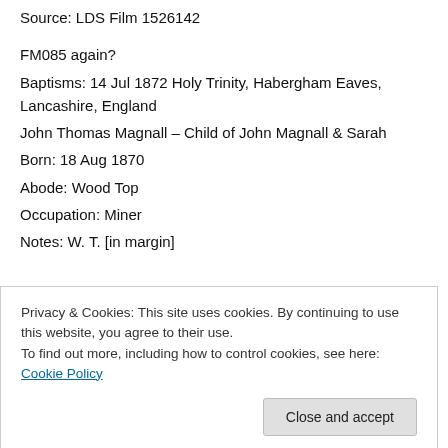Source: LDS Film 1526142
FM085 again?
Baptisms: 14 Jul 1872 Holy Trinity, Habergham Eaves, Lancashire, England
John Thomas Magnall – Child of John Magnall & Sarah
Born: 18 Aug 1870
Abode: Wood Top
Occupation: Miner
Notes: W. T. [in margin]
Privacy & Cookies: This site uses cookies. By continuing to use this website, you agree to their use.
To find out more, including how to control cookies, see here: Cookie Policy
Baptisms: 13 Aug 1872 Holy Trinity, Haborgham